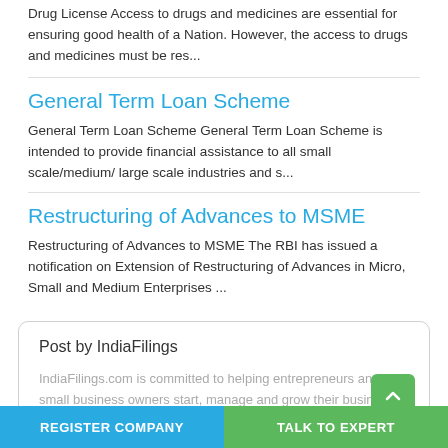Drug License Access to drugs and medicines are essential for ensuring good health of a Nation. However, the access to drugs and medicines must be res...
General Term Loan Scheme
General Term Loan Scheme General Term Loan Scheme is intended to provide financial assistance to all small scale/medium/ large scale industries and s...
Restructuring of Advances to MSME
Restructuring of Advances to MSME The RBI has issued a notification on Extension of Restructuring of Advances in Micro, Small and Medium Enterprises ...
Post by IndiaFilings
IndiaFilings.com is committed to helping entrepreneurs and small business owners start, manage and grow their business with peace of mind...
REGISTER COMPANY
TALK TO EXPERT